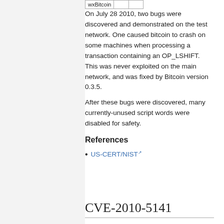| wxBitcoin |  |  |
| --- | --- | --- |
On July 28 2010, two bugs were discovered and demonstrated on the test network. One caused bitcoin to crash on some machines when processing a transaction containing an OP_LSHIFT. This was never exploited on the main network, and was fixed by Bitcoin version 0.3.5.
After these bugs were discovered, many currently-unused script words were disabled for safety.
References
US-CERT/NIST
CVE-2010-5141